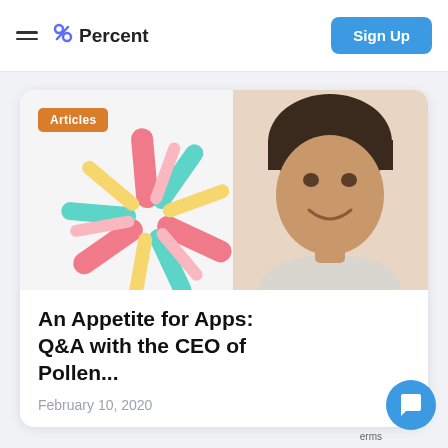≡ % Percent  [Sign Up]
[Figure (photo): Article card with a photo of a smiling man with dark hair against a colorful abstract asterisk/starburst graphic background, with an orange 'Articles' badge in the top-left corner]
An Appetite for Apps: Q&A with the CEO of Pollen...
February 10, 2020